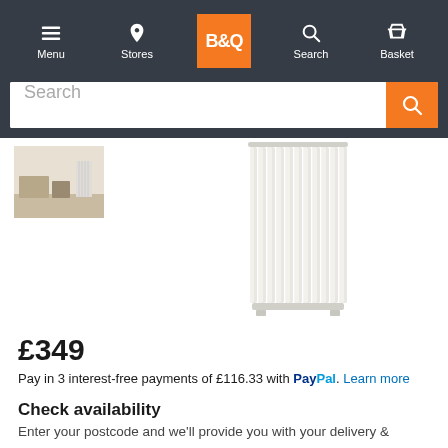B&Q navigation bar with Menu, Stores, B&Q logo, Search, Basket
[Figure (screenshot): Search bar with orange search button]
[Figure (photo): White vertical column radiator product image with small room thumbnail in top left]
£349
Pay in 3 interest-free payments of £116.33 with PayPal. Learn more
Check availability
Enter your postcode and we'll provide you with your delivery &